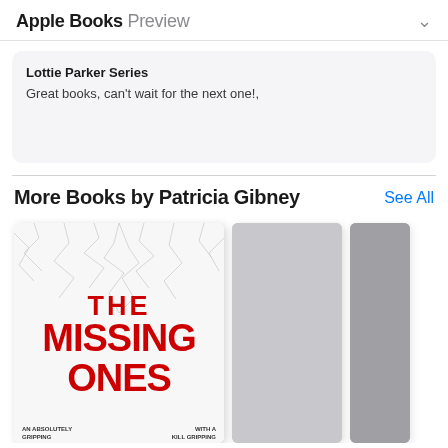Apple Books Preview
Lottie Parker Series
Great books, can't wait for the next one!,
More Books by Patricia Gibney
See All
[Figure (photo): Book covers in a horizontal scroll row. First book: 'The Missing Ones' by Patricia Gibney with red title text on a white cracked background. Second and third books are partially visible, shown as grey/blurred covers.]